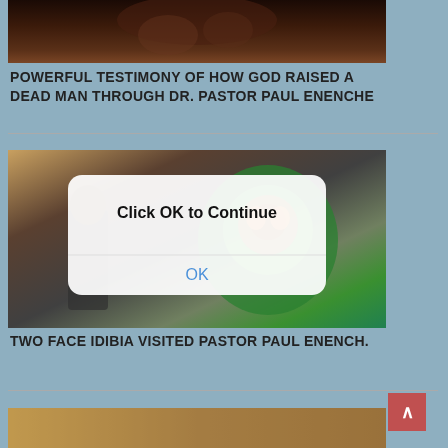[Figure (photo): Cropped close-up of a person's face with dark skin, partially visible at top of page]
POWERFUL TESTIMONY OF HOW GOD RAISED A DEAD MAN THROUGH DR. PASTOR PAUL ENENCHE
[Figure (screenshot): A browser alert/dialog overlay on top of a photo showing two people standing together; dialog reads 'Click OK to Continue' with an OK button]
TWO FACE IDIBIA VISITED PASTOR PAUL ENENCH.
[Figure (photo): Partial view of another image at the bottom of the page]